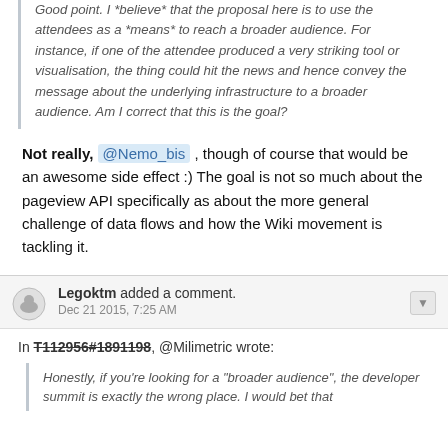Good point. I *believe* that the proposal here is to use the attendees as a *means* to reach a broader audience. For instance, if one of the attendee produced a very striking tool or visualisation, the thing could hit the news and hence convey the message about the underlying infrastructure to a broader audience. Am I correct that this is the goal?
Not really, @Nemo_bis , though of course that would be an awesome side effect :) The goal is not so much about the pageview API specifically as about the more general challenge of data flows and how the Wiki movement is tackling it.
Legoktm added a comment. Dec 21 2015, 7:25 AM
In T112956#1891198, @Milimetric wrote:
Honestly, if you're looking for a "broader audience", the developer summit is exactly the wrong place. I would bet that